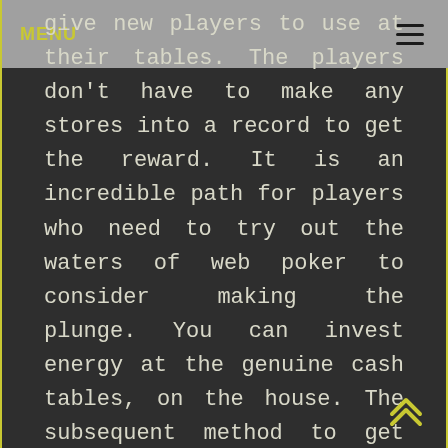MENU
give new players to use at their tables. The players don't have to make any stores into a record to get the reward. It is an incredible path for players who need to try out the waters of web poker to consider making the plunge. You can invest energy at the genuine cash tables, on the house. The subsequent method to get additional cash from the poker rooms online is through a store reward. These are generally offered to both new players as an invite reward, and to players that have played at the room before by